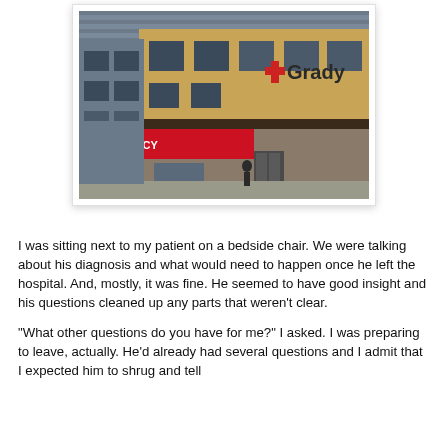[Figure (photo): Exterior photo of Grady hospital building showing a tan/yellow brick facade with a red cross and 'Grady' sign, and an emergency entrance canopy with red signage below.]
I was sitting next to my patient on a bedside chair. We were talking about his diagnosis and what would need to happen once he left the hospital. And, mostly, it was fine. He seemed to have good insight and his questions cleaned up any parts that weren't clear.
"What other questions do you have for me?" I asked. I was preparing to leave, actually. He'd already had several questions and I admit that I expected him to shrug and tell